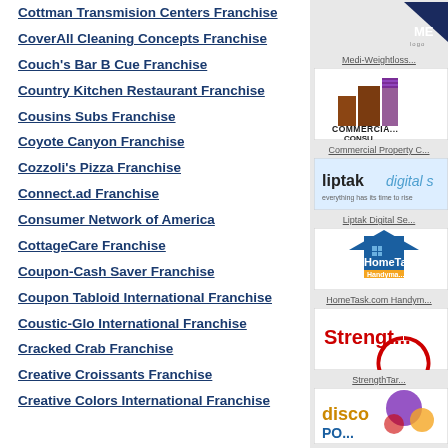Cottman Transmision Centers Franchise
CoverAll Cleaning Concepts Franchise
Couch's Bar B Cue Franchise
Country Kitchen Restaurant Franchise
Cousins Subs Franchise
Coyote Canyon Franchise
Cozzoli's Pizza Franchise
Connect.ad Franchise
Consumer Network of America
CottageCare Franchise
Coupon-Cash Saver Franchise
Coupon Tabloid International Franchise
Coustic-Glo International Franchise
Cracked Crab Franchise
Creative Croissants Franchise
Creative Colors International Franchise
[Figure (logo): Medi-Weightloss logo (partial, top-right corner)]
Medi-Weightloss...
[Figure (logo): Commercial Property Consulting logo with building graphic]
Commercial Property C...
[Figure (logo): Liptak Digital Services logo]
Liptak Digital Se...
[Figure (logo): HomeTask.com Handyman logo]
HomeTask.com Handym...
[Figure (logo): StrengthTar logo in red]
StrengthTar...
[Figure (logo): Disco Po... logo with colorful splash]